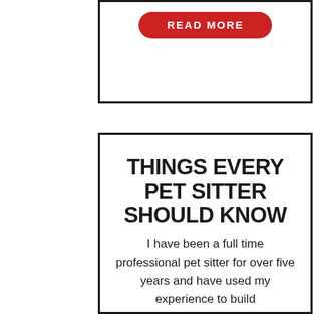[Figure (infographic): A card with a red 'READ MORE' button centered at top]
THINGS EVERY PET SITTER SHOULD KNOW
I have been a full time professional pet sitter for over five years and have used my experience to build